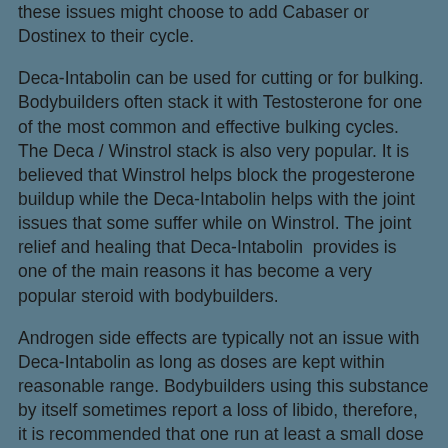these issues might choose to add Cabaser or Dostinex to their cycle.
Deca-Intabolin can be used for cutting or for bulking. Bodybuilders often stack it with Testosterone for one of the most common and effective bulking cycles. The Deca / Winstrol stack is also very popular. It is believed that Winstrol helps block the progesterone buildup while the Deca-Intabolin helps with the joint issues that some suffer while on Winstrol. The joint relief and healing that Deca-Intabolin provides is one of the main reasons it has become a very popular steroid with bodybuilders.
Androgen side effects are typically not an issue with Deca-Intabolin as long as doses are kept within reasonable range. Bodybuilders using this substance by itself sometimes report a loss of libido, therefore, it is recommended that one run at least a small dose of testosterone or even a high androgen like Proviron to help prevent this issue.
Women bodybuilders are also fond of this substance, where it's mild androgenic nature makes it a safe steroid for them to use without fear of masculizing side effects.